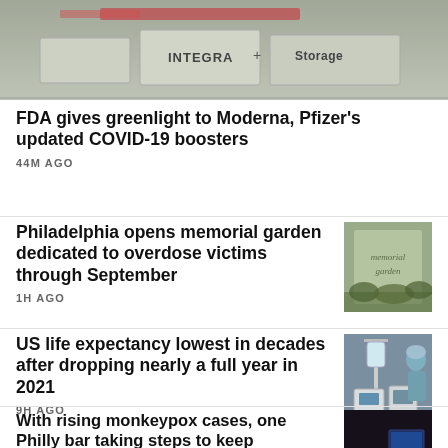[Figure (photo): Top banner photo showing medical storage boxes labeled INTEGRA and Storage on a surface]
FDA gives greenlight to Moderna, Pfizer's updated COVID-19 boosters
44M AGO
Philadelphia opens memorial garden dedicated to overdose victims through September
1H AGO
[Figure (photo): Stone or concrete memorial marker with 'memorial garden' text engraved, surrounded by foliage]
US life expectancy lowest in decades after dropping nearly a full year in 2021
9H AGO
[Figure (photo): Medical equipment including IV drip stands and monitors, with healthcare workers in surgical attire in background]
With rising monkeypox cases, one Philly bar taking steps to keep employees healthy
18H AGO
[Figure (photo): Dark interior of a bar with purple/blue lighting and screens visible]